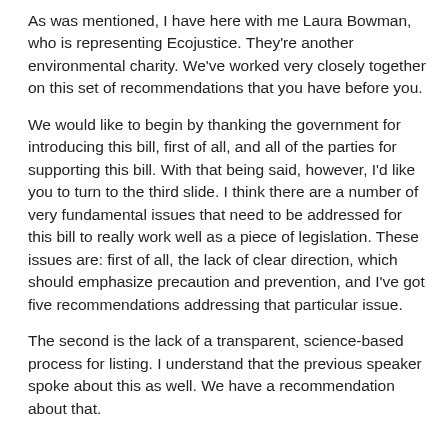As was mentioned, I have here with me Laura Bowman, who is representing Ecojustice. They're another environmental charity. We've worked very closely together on this set of recommendations that you have before you.
We would like to begin by thanking the government for introducing this bill, first of all, and all of the parties for supporting this bill. With that being said, however, I'd like you to turn to the third slide. I think there are a number of very fundamental issues that need to be addressed for this bill to really work well as a piece of legislation. These issues are: first of all, the lack of clear direction, which should emphasize precaution and prevention, and I've got five recommendations addressing that particular issue.
The second is the lack of a transparent, science-based process for listing. I understand that the previous speaker spoke about this as well. We have a recommendation about that.